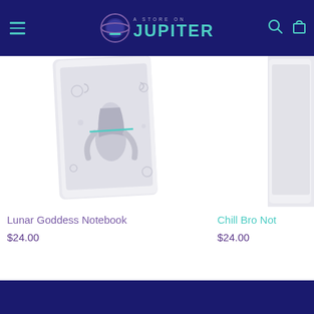A Store on Jupiter - Navigation header with logo, hamburger menu, search and cart icons
[Figure (photo): Lunar Goddess Notebook product image - a notebook with a goddess figure surrounded by moons and celestial elements on a light grey cover, shown at an angle]
Lunar Goddess Notebook
$24.00
[Figure (photo): Chill Bro Notebook product image - partially visible on the right edge]
Chill Bro Not...
$24.00
Footer bar - dark navy background